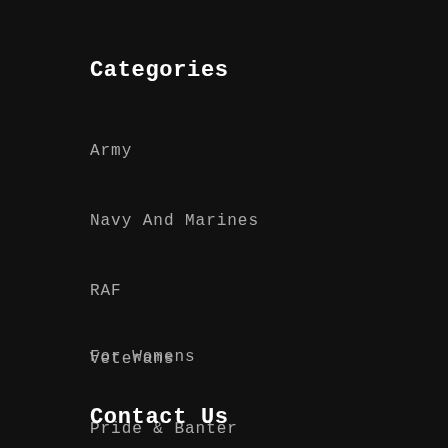Categories
Army
Navy And Marines
RAF
Veterans
Pride & Banter
For Womens
Contact Us